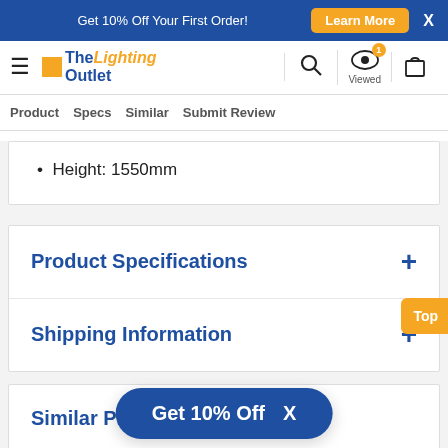Get 10% Off Your First Order! | Learn More | X
[Figure (logo): The Lighting Outlet logo with hamburger menu, search icon, eye/viewed icon with badge '1', and shopping bag icon]
Product | Specs | Similar | Submit Review
Height: 1550mm
Product Specifications +
Shipping Information +
Similar Products
Get 10% Off  X